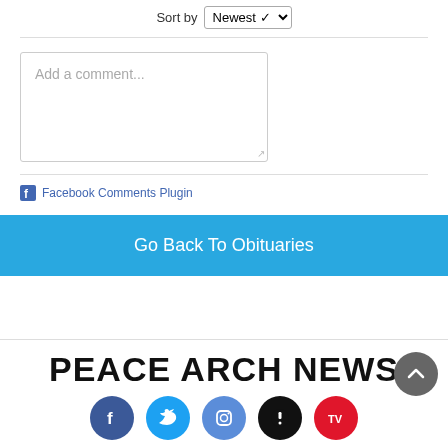Sort by Newest
Add a comment...
Facebook Comments Plugin
Go Back To Obituaries
PEACE ARCH NEWS
[Figure (logo): Social media icons: Facebook, Twitter, Instagram, News alert, TV]